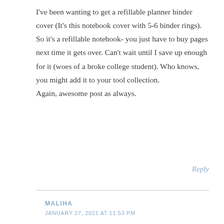I've been wanting to get a refillable planner binder cover (It's this notebook cover with 5-6 binder rings). So it's a refillable notebook- you just have to buy pages next time it gets over. Can't wait until I save up enough for it (woes of a broke college student). Who knows, you might add it to your tool collection.
Again, awesome post as always.
Reply
MALIHA
JANUARY 27, 2021 AT 11:53 PM
Thank you for the kind words, Win 🙂 I'll have to check out the refillable planner binder!